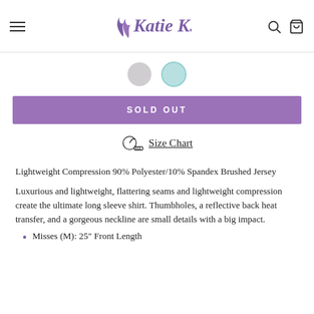Katie K. [logo with menu, search, cart icons]
[Figure (illustration): Two color swatches: a gray circle and a teal/mint circle with border]
SOLD OUT
Size Chart
Lightweight Compression 90% Polyester/10% Spandex Brushed Jersey
Luxurious and lightweight, flattering seams and lightweight compression create the ultimate long sleeve shirt. Thumbholes, a reflective back heat transfer, and a gorgeous neckline are small details with a big impact.
Misses (M): 25" Front Length